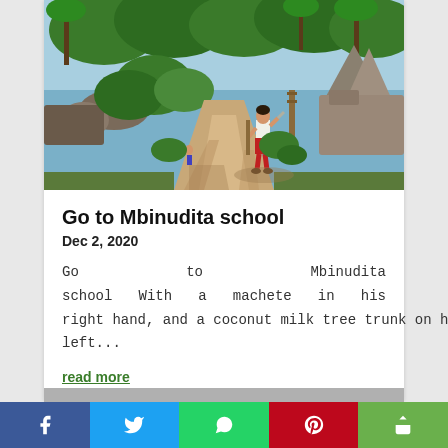[Figure (photo): A dirt road in a tropical village with lush green trees and palm trees. A young child stands in the middle of the road wearing a white shirt and red shorts, carrying items in both hands. Rocky structures and a pyramid-like stone monument are visible in the background.]
Go to Mbinudita school
Dec 2, 2020
Go to Mbinudita school With a machete in his right hand, and a coconut milk tree trunk on his left...
read more